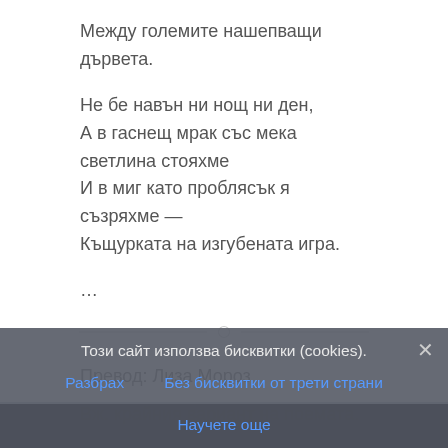Между големите нашепващи дървета.
Не бе навън ни нощ ни ден,
А в гаснещ мрак със мека светлина стояхме
И в миг като проблясък я съзряхме —
Къщурката на изгубената игра.
…
Превод: Лиза Мороз
Вж. крайния вариант на поемата.
Този сайт използва бисквитки (cookies).
Разбрах
Без бисквитки от трети страни
Научете още